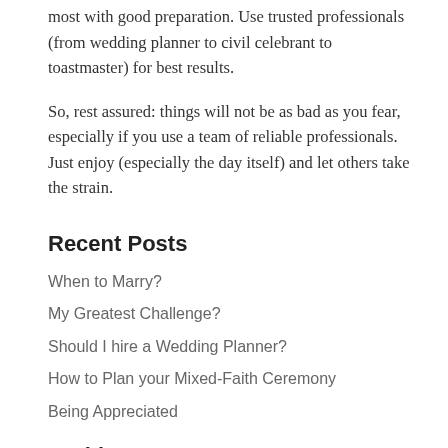most with good preparation. Use trusted professionals (from wedding planner to civil celebrant to toastmaster) for best results.
So, rest assured: things will not be as bad as you fear, especially if you use a team of reliable professionals. Just enjoy (especially the day itself) and let others take the strain.
Recent Posts
When to Marry?
My Greatest Challenge?
Should I hire a Wedding Planner?
How to Plan your Mixed-Faith Ceremony
Being Appreciated
Archives